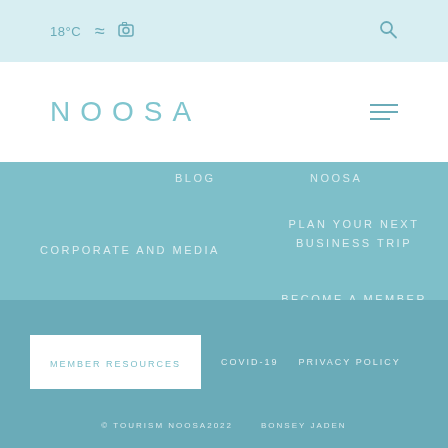18°C [wave icon] [camera icon] [search icon]
NOOSA
BLOG
NOOSA
PLAN YOUR NEXT BUSINESS TRIP
CORPORATE AND MEDIA
BECOME A MEMBER OF TOURISM NOOSA
WEDDINGS
CONTACT US
MEMBER RESOURCES   COVID-19   PRIVACY POLICY
© TOURISM NOOSA2022   BONSEY JADEN